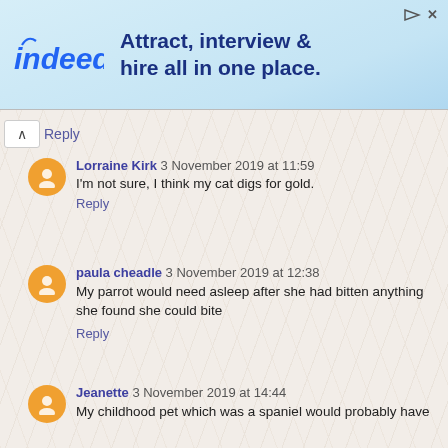[Figure (illustration): Indeed advertisement banner: 'Attract, interview & hire all in one place.' with Indeed logo on light blue background]
Reply
Lorraine Kirk 3 November 2019 at 11:59
I'm not sure, I think my cat digs for gold.
Reply
paula cheadle 3 November 2019 at 12:38
My parrot would need asleep after she had bitten anything she found she could bite
Reply
Jeanette 3 November 2019 at 14:44
My childhood pet which was a spaniel would probably have